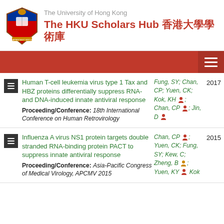The University of Hong Kong — The HKU Scholars Hub 香港大學學術庫
Human T-cell leukemia virus type 1 Tax and HBZ proteins differentially suppress RNA- and DNA-induced innate antiviral response | Proceeding/Conference: 18th International Conference on Human Retrovirology | Authors: Fung, SY; Chan, CP; Yuen, CK; Kok, KH; Chan, CP; Jin, D | Year: 2017
Influenza A virus NS1 protein targets double stranded RNA-binding protein PACT to suppress innate antiviral response | Proceeding/Conference: Asia-Pacific Congress of Medical Virology, APCMV 2015 | Authors: Chan, CP; Yuen, CK; Fung, SY; Kew, C; Zheng, B; Yuen, KY; Kok | Year: 2015